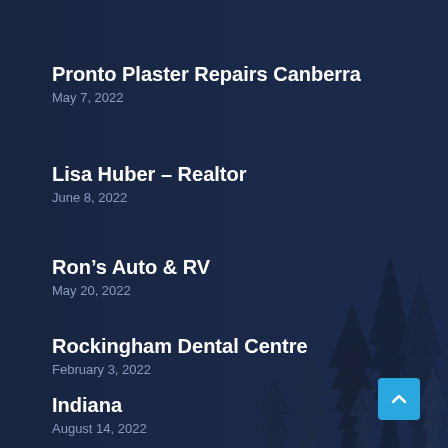Pronto Plaster Repairs Canberra
May 7, 2022
Lisa Huber – Realtor
June 8, 2022
Ron's Auto & RV
May 20, 2022
Rockingham Dental Centre
February 3, 2022
Indiana
August 14, 2022